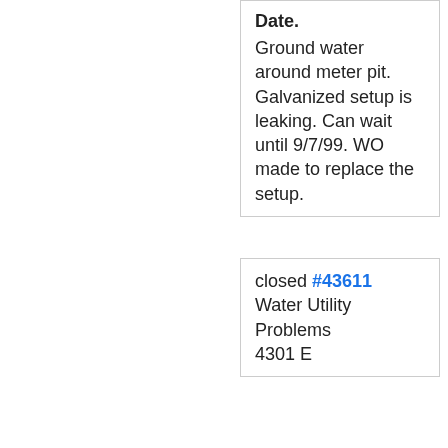Date. Ground water around meter pit. Galvanized setup is leaking. Can wait until 9/7/99. WO made to replace the setup.
closed #43611 Water Utility Problems 4301 E